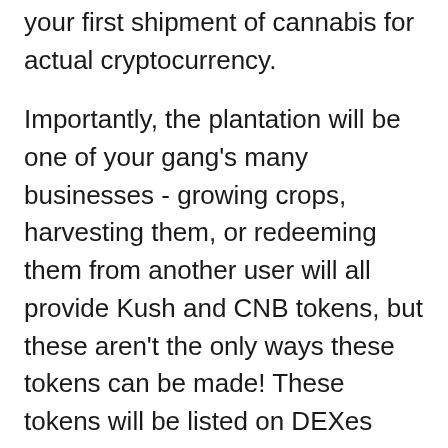your first shipment of cannabis for actual cryptocurrency.
Importantly, the plantation will be one of your gang's many businesses - growing crops, harvesting them, or redeeming them from another user will all provide Kush and CNB tokens, but these aren't the only ways these tokens can be made! These tokens will be listed on DEXes where there won't be a presale. Players can use this token to make purchases in the Coffeeshop, to buy artefacts, or any other products on offer by other players within the CanaBoyz game. As of May 2022, the CNB token has been published